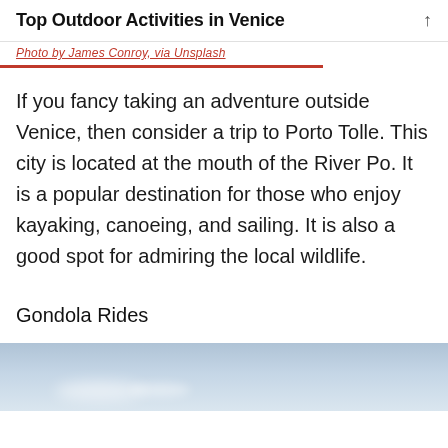Top Outdoor Activities in Venice
Photo by [author name, attribution]
If you fancy taking an adventure outside Venice, then consider a trip to Porto Tolle. This city is located at the mouth of the River Po. It is a popular destination for those who enjoy kayaking, canoeing, and sailing. It is also a good spot for admiring the local wildlife.
Gondola Rides
[Figure (photo): Sky with clouds — partial photo at bottom of page]